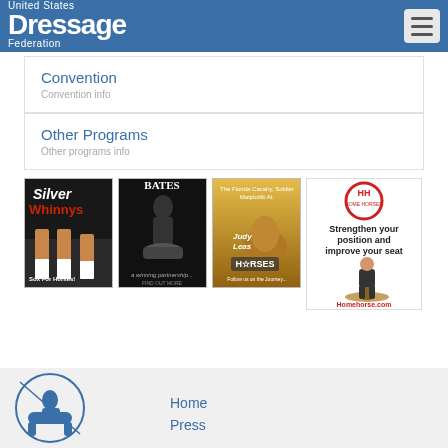United States Dressage Federation
Convention
Other Programs
[Figure (illustration): Silver Whinnys Sox For Horses advertisement — horse legs with white socks]
[Figure (illustration): Bates Company saddle advertisement — a winning partnership]
[Figure (illustration): Horses magazine advertisement — Judy Leas, golden background with horse]
[Figure (illustration): Home Horse advertisement — Strengthen your position and improve your seat, Homehorse.com]
Home
Press